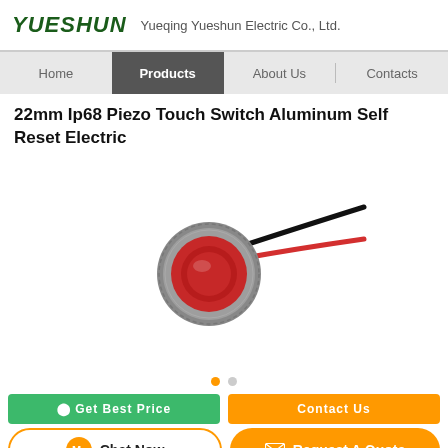YUESHUN  Yueqing Yueshun Electric Co., Ltd.
Home | Products | About Us | Contacts
22mm Ip68 Piezo Touch Switch Aluminum Self Reset Electric
[Figure (photo): Red anodized aluminum 22mm piezo touch switch with two wires (red and black) extending to the right, shown on white background.]
Chat Now   Request A Quote